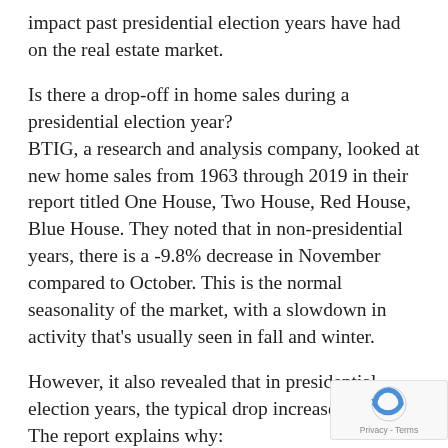impact past presidential election years have had on the real estate market.
Is there a drop-off in home sales during a presidential election year?
BTIG, a research and analysis company, looked at new home sales from 1963 through 2019 in their report titled One House, Two House, Red House, Blue House. They noted that in non-presidential years, there is a -9.8% decrease in November compared to October. This is the normal seasonality of the market, with a slowdown in activity that's usually seen in fall and winter.
However, it also revealed that in presidential election years, the typical drop increases to -15%. The report explains why: